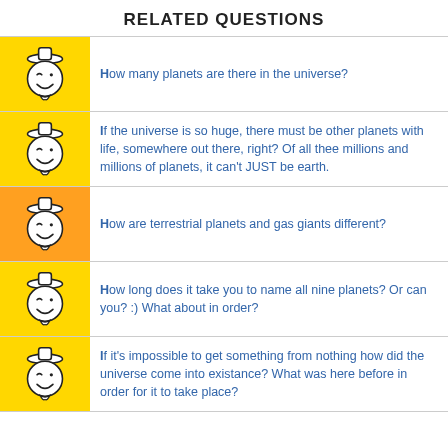RELATED QUESTIONS
How many planets are there in the universe?
If the universe is so huge, there must be other planets with life, somewhere out there, right? Of all thee millions and millions of planets, it can't JUST be earth.
How are terrestrial planets and gas giants different?
How long does it take you to name all nine planets? Or can you? :) What about in order?
If it's impossible to get something from nothing how did the universe come into existance? What was here before in order for it to take place?